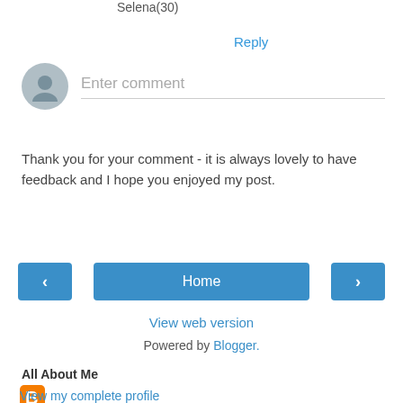Selena(30)
Reply
[Figure (illustration): User avatar placeholder circle icon with person silhouette in gray, next to an 'Enter comment' input field with a bottom border.]
Thank you for your comment - it is always lovely to have feedback and I hope you enjoyed my post.
[Figure (screenshot): Navigation buttons row: left arrow button (blue), Home button (blue, wide), right arrow button (blue)]
View web version
Powered by Blogger.
All About Me
[Figure (logo): Blogger orange B logo icon]
View my complete profile